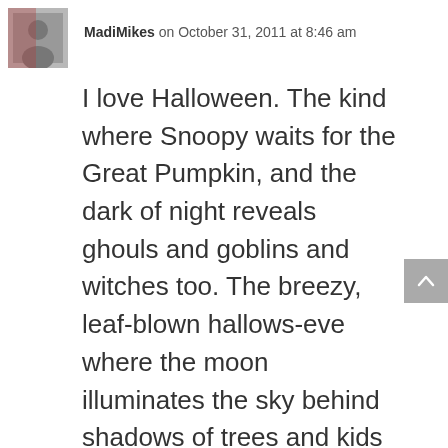MadiMikes on October 31, 2011 at 8:46 am
I love Halloween. The kind where Snoopy waits for the Great Pumpkin, and the dark of night reveals ghouls and goblins and witches too. The breezy, leaf-blown hallows-eve where the moon illuminates the sky behind shadows of trees and kids can be heard giggling over fist-fulls of candy. The smell of pumpkin pie reminds us that Thanksgiving is just around the corner.